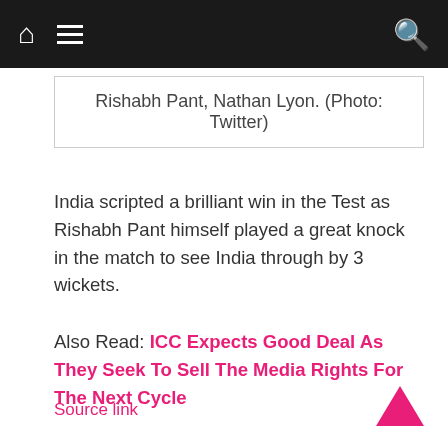Navigation bar with home, menu, and search icons
Rishabh Pant, Nathan Lyon. (Photo: Twitter)
India scripted a brilliant win in the Test as Rishabh Pant himself played a great knock in the match to see India through by 3 wickets.
Also Read: ICC Expects Good Deal As They Seek To Sell The Media Rights For The Next Cycle
Source link